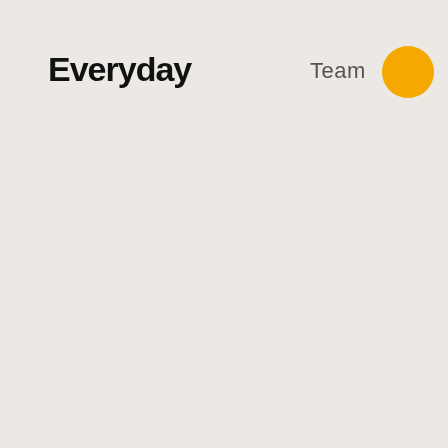Everyday
Team
[Figure (illustration): A solid gold/amber-yellow filled circle used as a decorative element or avatar placeholder in the top-right area of the page.]